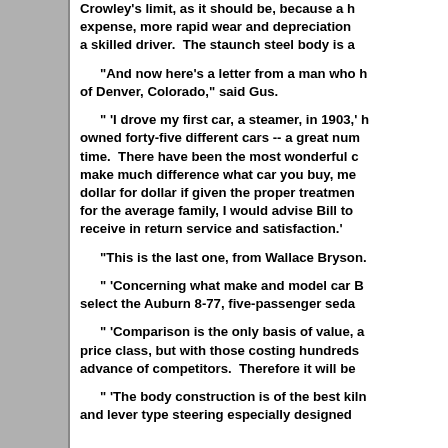Crowley's limit, as it should be, because a h expense, more rapid wear and depreciation a skilled driver.  The staunch steel body is a
"And now here's a letter from a man who h of Denver, Colorado," said Gus.
" 'I drove my first car, a steamer, in 1903,' h owned forty-five different cars -- a great num time.  There have been the most wonderful c make much difference what car you buy, me dollar for dollar if given the proper treatmen for the average family, I would advise Bill to receive in return service and satisfaction.'
"This is the last one, from Wallace Bryson.
" 'Concerning what make and model car B select the Auburn 8-77, five-passenger seda
" 'Comparison is the only basis of value, a price class, but with those costing hundreds advance of competitors.  Therefore it will be
" 'The body construction is of the best kiln and lever type steering especially designed